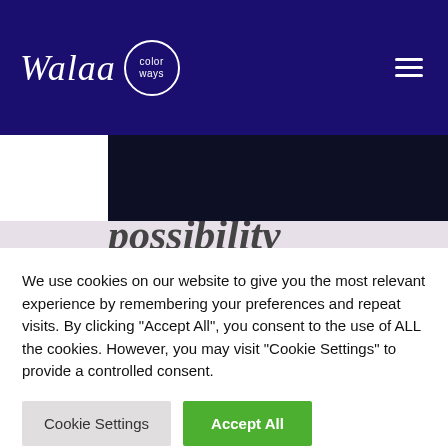Walaa color ways
[Figure (logo): Vimeo logo on dark navy background]
possibility
We use cookies on our website to give you the most relevant experience by remembering your preferences and repeat visits. By clicking “Accept All”, you consent to the use of ALL the cookies. However, you may visit “Cookie Settings” to provide a controlled consent.
Cookie Settings   Accept All